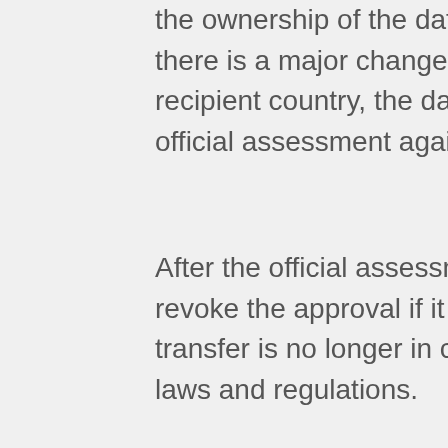the ownership of the data recipient is changed, or (iii) there is a major change of legal environment in the recipient country, the data sender shall apply for the official assessment again.
After the official assessment, the CAC is empowered to revoke the approval if it finds that the cross-border transfer is no longer in compliance with the relevant laws and regulations.
In addition to the regulations over the security assessment of cross-border data transfer, the PIPL also designated the CAC to produce the following regulations/guidances, which we believe will be published soon after the effectiveness of the PIPL.
Procedures and standards for certification of (good) personal information protection Standard data transfer agreement to be used